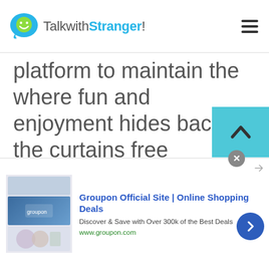TalkwithStranger!
platform to maintain the where fun and enjoyment hides back in the curtains free chatrooms. A friendly chat with strangers gets your mind away from the stressful life when you video chat with random people of Malaysia. Talkwithstranger provides a gateway to some me time
[Figure (screenshot): Groupon advertisement banner with logo image, title 'Groupon Official Site | Online Shopping Deals', description 'Discover & Save with Over 300k of the Best Deals', URL 'www.groupon.com', close button, and right-arrow navigation button]